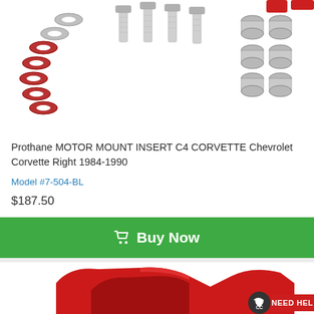[Figure (photo): Hardware parts including red washers, silver bolts, and silver cylindrical nuts/spacers on white background - top portion of motor mount insert kit]
Prothane MOTOR MOUNT INSERT C4 CORVETTE Chevrolet Corvette Right 1984-1990
Model #7-504-BL
$187.50
Buy Now
[Figure (photo): Red polyurethane motor mount insert part (C4 Corvette right side) shown in close-up with NEED HEL[P] badge visible in bottom right corner]